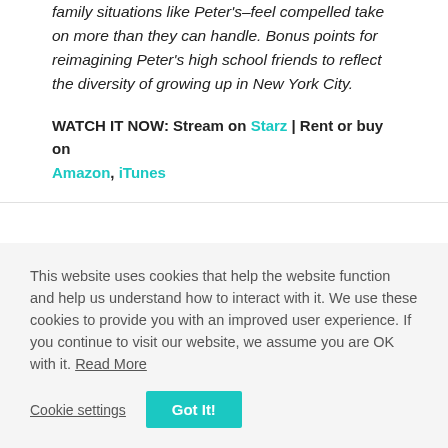family situations like Peter's–feel compelled take on more than they can handle. Bonus points for reimagining Peter's high school friends to reflect the diversity of growing up in New York City.
WATCH IT NOW: Stream on Starz | Rent or buy on Amazon, iTunes
This website uses cookies that help the website function and help us understand how to interact with it. We use these cookies to provide you with an improved user experience. If you continue to visit our website, we assume you are OK with it. Read More
Cookie settings | Got It!